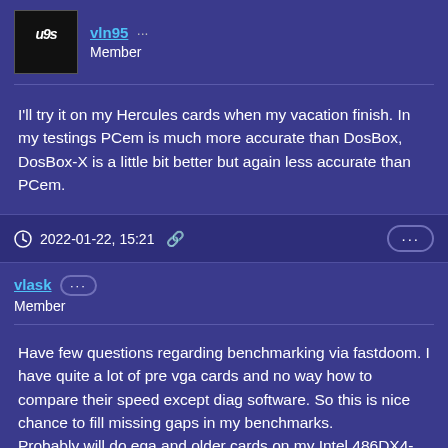[Figure (photo): User avatar with stylized text 'u9s' on black background]
vln95 Member
I'll try it on my Hercules cards when my vacation finish. In my testings PCem is much more accurate than DosBox, DosBox-X is a little bit better but again less accurate than PCem.
2022-01-22, 15:21
vlask Member
Have few questions regarding benchmarking via fastdoom. I have quite a lot of pre vga cards and no way how to compare their speed except diag software. So this is nice chance to fill missing gaps in my benchmarks.
Probably will do ega and older cards on my Intel 486DX4-100, Asus PVI-486SP3 (ISA/VLB/PCI). And all cards till agp